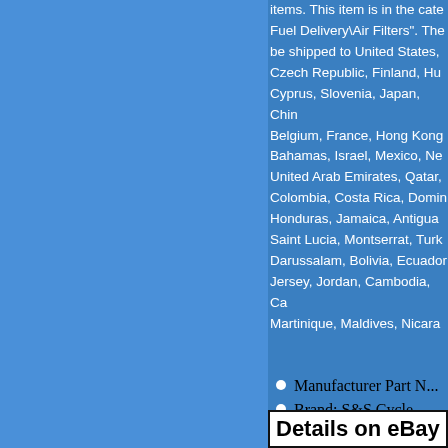items. This item is in the category Fuel Delivery\Air Filters". The item can be shipped to United States, Czech Republic, Finland, Hungary, Cyprus, Slovenia, Japan, China, Belgium, France, Hong Kong, Bahamas, Israel, Mexico, New Zealand, United Arab Emirates, Qatar, Colombia, Costa Rica, Dominican Republic, Honduras, Jamaica, Antigua and Barbuda, Saint Lucia, Montserrat, Turks and Caicos, Darussalam, Bolivia, Ecuador, Egypt, Jersey, Jordan, Cambodia, Cayman Islands, Martinique, Maldives, Nicaragua...
Manufacturer Part N...
Brand: S&S Cycle
Loc: 220
Details on eBay